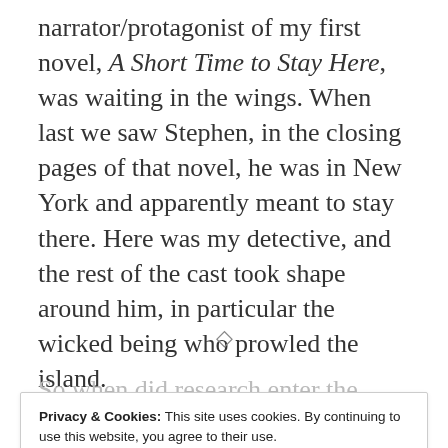narrator/protagonist of my first novel, A Short Time to Stay Here, was waiting in the wings. When last we saw Stephen, in the closing pages of that novel, he was in New York and apparently meant to stay there. Here was my detective, and the rest of the cast took shape around him, in particular the wicked being who prowled the island.
◇
So when did research enter the picture?
Privacy & Cookies: This site uses cookies. By continuing to use this website, you agree to their use. To find out more, including how to control cookies, see here: Cookie Policy
when Stephen would be in New York — was an